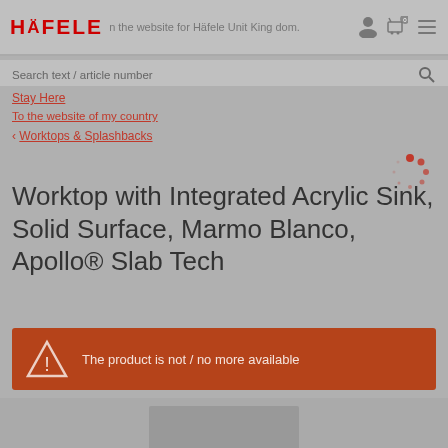[Figure (screenshot): Häfele website top navigation bar with logo, search bar overlay text, stay here and country links, breadcrumb navigation, and a loading spinner]
HÄFELE — n the website for Häfele Unit Kingdom.
Search text / article number
Stay Here
To the website of my country
< Worktops & Splashbacks
Worktop with Integrated Acrylic Sink, Solid Surface, Marmo Blanco, Apollo® Slab Tech
The product is not / no more available